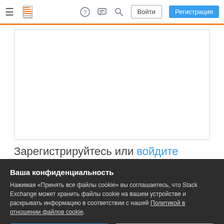Stack Exchange navigation bar with logo, question mark, speech bubble, search, Войти, and Регистрация buttons
[Figure (screenshot): Empty white content box with border, likely a code editor or question input area]
Зарегистрируйтесь или войдите
Ваша конфиденциальность
Нажимая «Принять все файлы cookie» вы соглашаетесь, что Stack Exchange может хранить файлы cookie на вашем устройстве и раскрывать информацию в соответствии с нашей Политикой в отношении файлов cookie.
Принять все файлы cookie   Настроить параметры
Отправить без регистрации